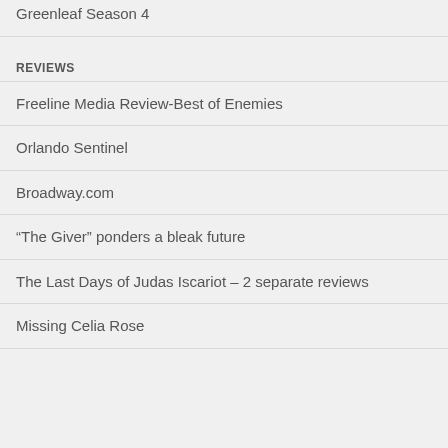Greenleaf Season 4
REVIEWS
Freeline Media Review-Best of Enemies
Orlando Sentinel
Broadway.com
“The Giver” ponders a bleak future
The Last Days of Judas Iscariot – 2 separate reviews
Missing Celia Rose